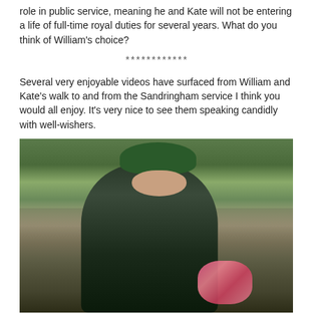role in public service, meaning he and Kate will not be entering a life of full-time royal duties for several years. What do you think of William's choice?
************
Several very enjoyable videos have surfaced from William and Kate's walk to and from the Sandringham service I think you would all enjoy. It's very nice to see them speaking candidly with well-wishers.
[Figure (photo): Photo of Kate Middleton wearing a dark green hat and dark coat, smiling, surrounded by a crowd of well-wishers outdoors at Sandringham. She is holding pink flowers. Trees and blue sky visible in background.]